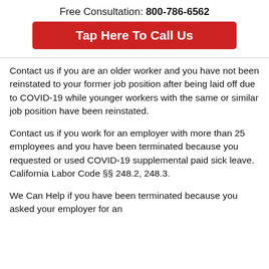Free Consultation: 800-786-6562
Tap Here To Call Us
Contact us if you are an older worker and you have not been reinstated to your former job position after being laid off due to COVID-19 while younger workers with the same or similar job position have been reinstated.
Contact us if you work for an employer with more than 25 employees and you have been terminated because you requested or used COVID-19 supplemental paid sick leave. California Labor Code §§ 248.2, 248.3.
We Can Help if you have been terminated because you asked your employer for an